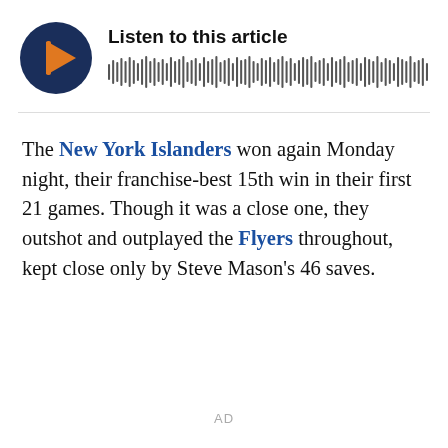[Figure (other): Audio player widget with dark blue circular play button showing orange play icon, 'Listen to this article' title, and waveform/progress bar]
The New York Islanders won again Monday night, their franchise-best 15th win in their first 21 games. Though it was a close one, they outshot and outplayed the Flyers throughout, kept close only by Steve Mason's 46 saves.
AD